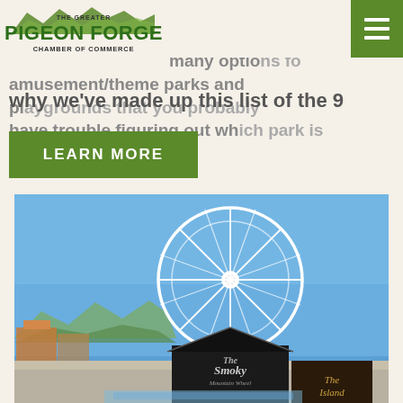the Pigeon Forge area, you have so many options for amusement/theme parks and playgrounds that you probably have trouble figuring out which park is right for you. That's why we've made up this list of the 9
[Figure (logo): The Greater Pigeon Forge Chamber of Commerce logo with mountain graphic]
[Figure (other): Green hamburger menu button]
LEARN MORE
[Figure (photo): Outdoor photo showing a large white Ferris wheel (The Smoky Mountain Wheel) against a clear blue sky, with a dark-roofed building/entrance structure below reading 'The Smoky' and 'The Island', and mountains/trees in the background]